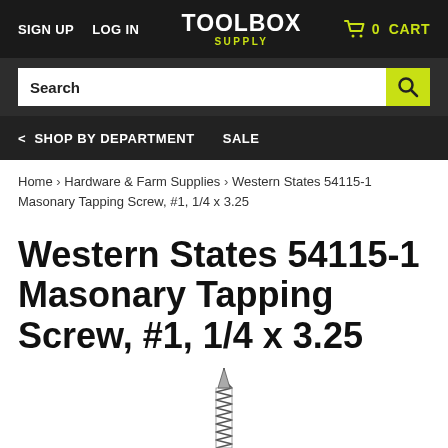SIGN UP  LOG IN  TOOLBOX SUPPLY  0 CART
Search
< SHOP BY DEPARTMENT  SALE
Home › Hardware & Farm Supplies › Western States 54115-1 Masonary Tapping Screw, #1, 1/4 x 3.25
Western States 54115-1 Masonary Tapping Screw, #1, 1/4 x 3.25
[Figure (photo): Product image of a masonry tapping screw, partially visible at bottom of page]